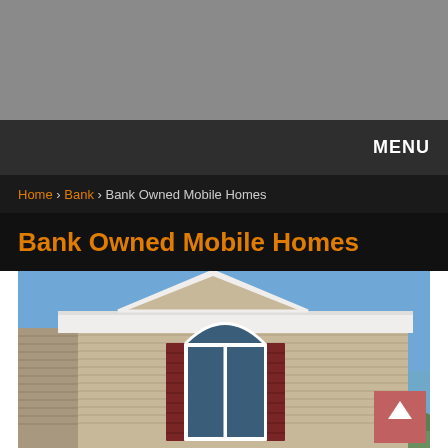[Figure (other): Gray advertisement banner area at the top of the page]
MENU
Home › Bank › Bank Owned Mobile Homes
Bank Owned Mobile Homes
[Figure (photo): Photograph of a bank-owned mobile home exterior with beige vinyl siding, white trim, large front windows, dark red shutters, and a blue sky background with green hills]